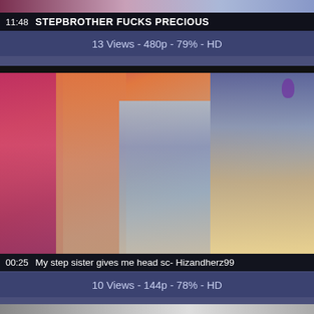[Figure (screenshot): Partial top of first video thumbnail - cropped, dark background with partial image visible]
11:48   STEPBROTHER FUCKS PRECIOUS
13 Views - 480p - 79% - HD
[Figure (screenshot): Second video thumbnail showing person with pink/red hair lying on bed in bedroom setting]
00:25   My step sister gives me head sc- Hizandherz99
10 Views - 144p - 78% - HD
[Figure (screenshot): Partial top of third video thumbnail at bottom of page]